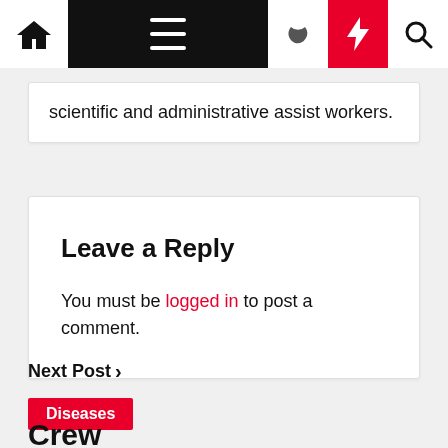Navigation bar with home icon, menu, moon icon, bolt icon, search icon
scientific and administrative assist workers.
Leave a Reply
You must be logged in to post a comment.
Next Post >
Diseases
Crew